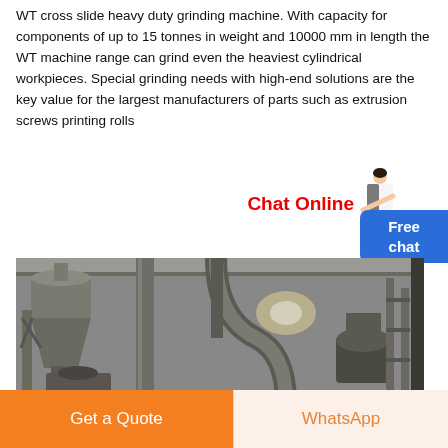WT cross slide heavy duty grinding machine. With capacity for components of up to 15 tonnes in weight and 10000 mm in length the WT machine range can grind even the heaviest cylindrical workpieces. Special grinding needs with high-end solutions are the key value for the largest manufacturers of parts such as extrusion screws printing rolls
Chat Online
[Figure (photo): Industrial grinding/milling facility interior showing large cylindrical machinery, dust collectors, pipes and heavy industrial equipment in a warehouse setting]
Get a Quote
WhatsApp